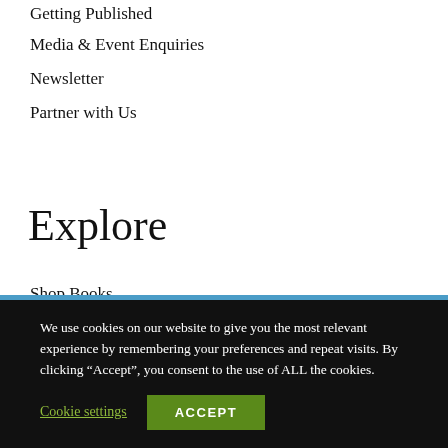Getting Published
Media & Event Enquiries
Newsletter
Partner with Us
Explore
Shop Books
Bestsellers
We use cookies on our website to give you the most relevant experience by remembering your preferences and repeat visits. By clicking “Accept”, you consent to the use of ALL the cookies.
Cookie settings
ACCEPT